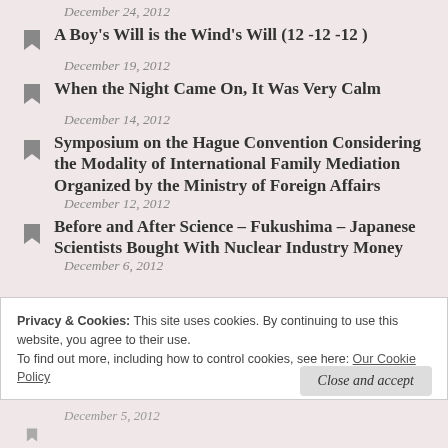December 24, 2012
A Boy's Will is the Wind's Will (12 -12 -12 )
December 19, 2012
When the Night Came On, It Was Very Calm
December 14, 2012
Symposium on the Hague Convention Considering the Modality of International Family Mediation Organized by the Ministry of Foreign Affairs
December 12, 2012
Before and After Science – Fukushima – Japanese Scientists Bought With Nuclear Industry Money
December 6, 2012
Privacy & Cookies: This site uses cookies. By continuing to use this website, you agree to their use.
To find out more, including how to control cookies, see here: Our Cookie Policy
Close and accept
December 5, 2012